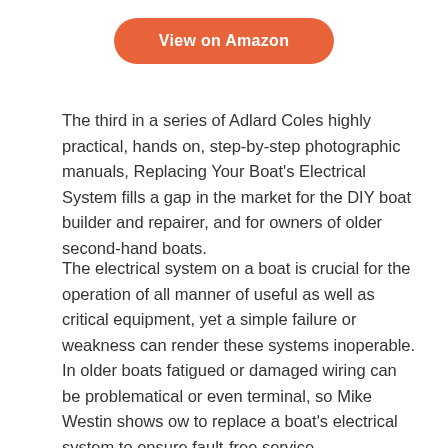[Figure (other): Orange rounded button labeled 'View on Amazon']
The third in a series of Adlard Coles highly practical, hands on, step-by-step photographic manuals, Replacing Your Boat's Electrical System fills a gap in the market for the DIY boat builder and repairer, and for owners of older second-hand boats.
The electrical system on a boat is crucial for the operation of all manner of useful as well as critical equipment, yet a simple failure or weakness can render these systems inoperable. In older boats fatigued or damaged wiring can be problematical or even terminal, so Mike Westin shows ow to replace a boat's electrical system to ensure fault-free service.